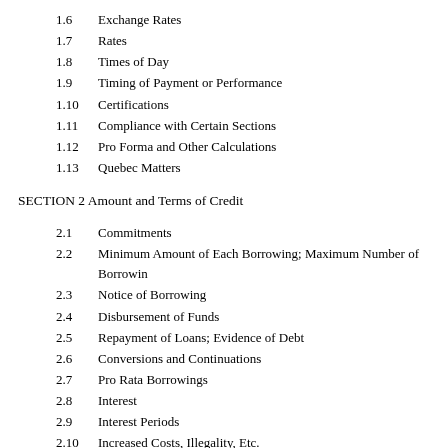1.6  Exchange Rates
1.7  Rates
1.8  Times of Day
1.9  Timing of Payment or Performance
1.10  Certifications
1.11  Compliance with Certain Sections
1.12  Pro Forma and Other Calculations
1.13  Quebec Matters
SECTION 2 Amount and Terms of Credit
2.1  Commitments
2.2  Minimum Amount of Each Borrowing; Maximum Number of Borrowings
2.3  Notice of Borrowing
2.4  Disbursement of Funds
2.5  Repayment of Loans; Evidence of Debt
2.6  Conversions and Continuations
2.7  Pro Rata Borrowings
2.8  Interest
2.9  Interest Periods
2.10  Increased Costs, Illegality, Etc.
2.11  Compensation
2.12  Change of Lending Office
2.13  Notice of Certain Costs
2.14  Incremental Facilities; Extensions; Refinancing Facilities
2.15  Permitted Debt Exchanges
2.16  Defaulting Lenders